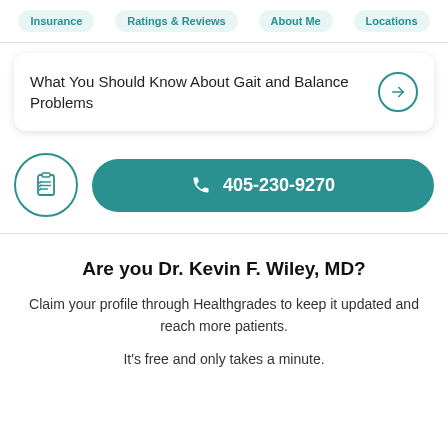Insurance | Ratings & Reviews | About Me | Locations
What You Should Know About Gait and Balance Problems
405-230-9270
Are you Dr. Kevin F. Wiley, MD?
Claim your profile through Healthgrades to keep it updated and reach more patients.
It's free and only takes a minute.